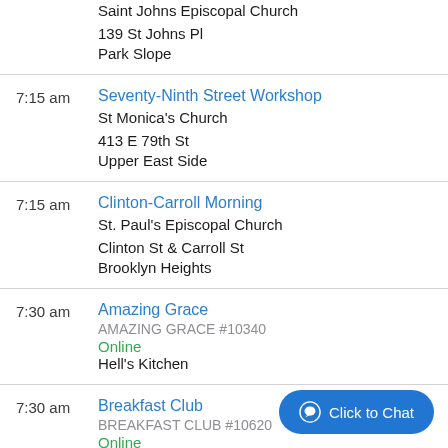Saint Johns Episcopal Church
139 St Johns Pl
Park Slope
7:15 am — Seventy-Ninth Street Workshop
St Monica's Church
413 E 79th St
Upper East Side
7:15 am — Clinton-Carroll Morning
St. Paul's Episcopal Church
Clinton St & Carroll St
Brooklyn Heights
7:30 am — Amazing Grace
AMAZING GRACE #10340
Online
Hell's Kitchen
7:30 am — Breakfast Club
BREAKFAST CLUB #10620
Online
Kin's Bay/Murray Hill